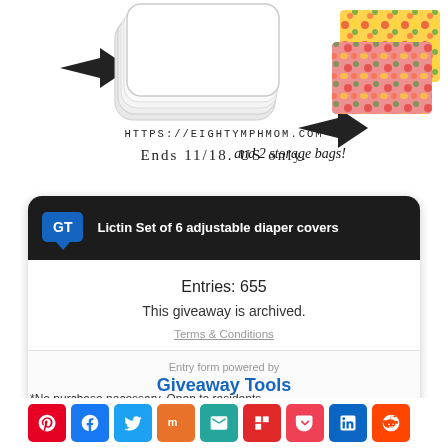[Figure (illustration): White cloth diapers/inserts with arrow on left, colorful fruit-patterned storage bags with arrow on right, handwritten-style text 'and 2 storage bags!']
HTTPS://EIGHTYMPHMOM.COM
Ends 11/18. US only.
[Figure (screenshot): Giveaway Tools widget: header with 'GT' badge and title 'Lictin Set of 6 adjustable diaper covers'. Body shows 'Entries: 655', 'This giveaway is archived.', and 'Terms & Conditions' link. Footer shows 'Entry form powered by Giveaway Tools'.]
*No purchase necessary. Open to residents
[Figure (infographic): Row of social share buttons: Pinterest, Facebook, Twitter, Mix, Email, Flipboard, Pocket, LinkedIn, Reddit]